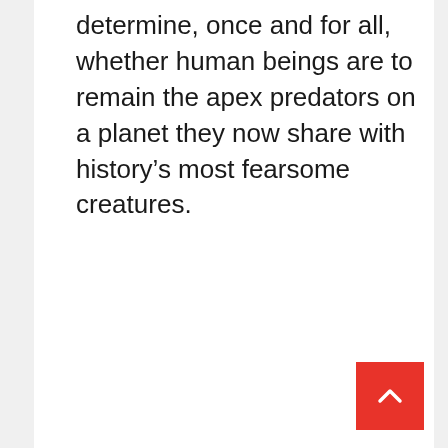determine, once and for all, whether human beings are to remain the apex predators on a planet they now share with history’s most fearsome creatures.
[Figure (other): Red back-to-top button with upward chevron arrow icon in the bottom right corner]